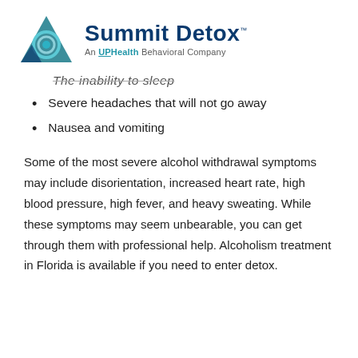[Figure (logo): Summit Detox logo with teal triangle/wave icon, bold dark blue 'Summit Detox' wordmark with trademark symbol, subtitle 'An UPHealth Behavioral Company']
The inability to sleep
Severe headaches that will not go away
Nausea and vomiting
Some of the most severe alcohol withdrawal symptoms may include disorientation, increased heart rate, high blood pressure, high fever, and heavy sweating. While these symptoms may seem unbearable, you can get through them with professional help. Alcoholism treatment in Florida is available if you need to enter detox.